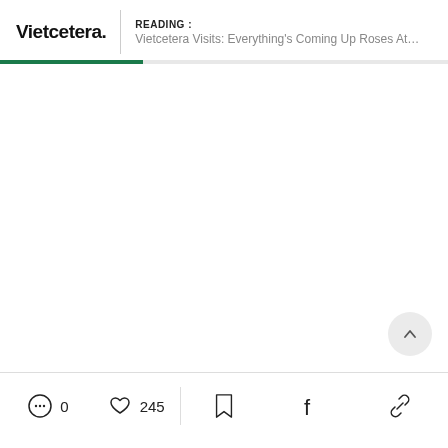Vietcetera. | READING : Vietcetera Visits: Everything's Coming Up Roses At…
[Figure (other): Green reading progress bar at approximately 32% fill]
[Figure (other): Scroll-to-top circular button with chevron up icon]
0 comments · 245 likes · bookmark · facebook share · link share